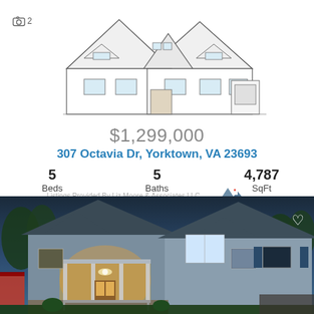[Figure (illustration): Architectural line drawing / sketch of a two-story house with steep gabled roofs and multiple windows]
📷 2
$1,299,000
307 Octavia Dr, Yorktown, VA 23693
5 Beds   5 Baths   4,787 SqFt
Listings Provided By Liz Moore & Associates LLC
[Figure (logo): REIN Real Estate Information Network logo with mountain/house icon]
[Figure (photo): Exterior photo of a two-story craftsman-style house at dusk/twilight with warm interior lighting, blue-gray siding, covered front porch with columns, and stone accents]